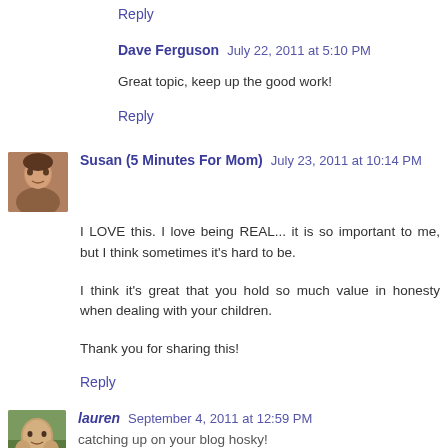Reply
Dave Ferguson  July 22, 2011 at 5:10 PM
Great topic, keep up the good work!
Reply
Susan (5 Minutes For Mom)  July 23, 2011 at 10:14 PM
I LOVE this. I love being REAL... it is so important to me, but I think sometimes it's hard to be.
I think it's great that you hold so much value in honesty when dealing with your children.
Thank you for sharing this!
Reply
lauren  September 4, 2011 at 12:59 PM
catching up on your blog hosky!